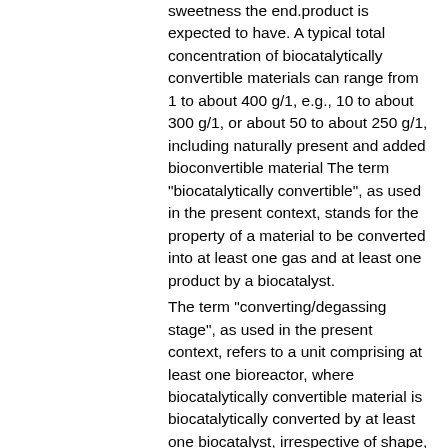sweetness the end.product is expected to have. A typical total concentration of biocatalytically convertible materials can range from 1 to about 400 g/1, e.g., 10 to about 300 g/1, or about 50 to about 250 g/1, including naturally present and added bioconvertible material The term "biocatalytically convertible", as used in the present context, stands for the property of a material to be converted into at least one gas and at least one product by a biocatalyst.
The term "converting/degassing stage", as used in the present context, refers to a unit comprising at least one bioreactor, where biocatalytically convertible material is biocatalytically converted by at least one biocatalyst, irrespective of shape, volume, model or other features of the bioreactor, and at least one degassing device, where gases produced during bioconversion can be removed,
A converting/degassing stage can solely consist of one bioreactor and one degassing device, it can, however, also comprise additional other devices, e.g., one or more devices for the removal of solids, which can be added between the bioreactor and the degassing device of after the degassing device, or both.